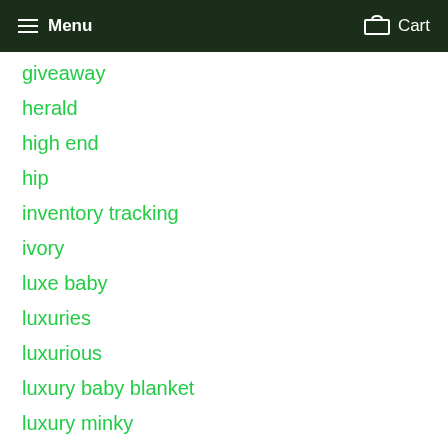Menu  Cart
giveaway
herald
high end
hip
inventory tracking
ivory
luxe baby
luxuries
luxurious
luxury baby blanket
luxury minky
made in
meydenbauer center
meydenbuer center
minkey